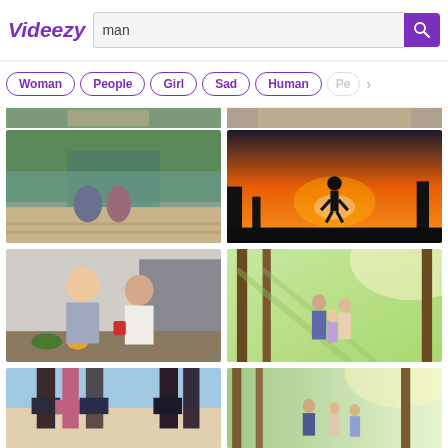[Figure (screenshot): Videezy website header with logo, search bar showing 'man', and purple search button]
[Figure (screenshot): Tag filter buttons: Woman, People, Girl, Sad, Human, Pe... with arrow]
[Figure (photo): Partial top images cropped at top of grid]
[Figure (photo): Couple sitting on dock by lake, view from behind]
[Figure (photo): Silhouette of person running at sunset]
[Figure (photo): Asian couple in kitchen, man and woman smiling]
[Figure (photo): Family walking in sunny park with tall trees]
[Figure (photo): Partial bottom - group of people standing, legs visible, beach]
[Figure (photo): Partial bottom - family in forest with sunlight]